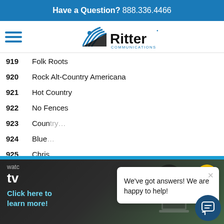Have a Question? 888.336.4466
[Figure (logo): Ritter Communications logo with hamburger menu icon]
919  Folk Roots
920  Rock Alt-Country Americana
921  Hot Country
922  No Fences
923  Country (partially obscured)
924  Blue (partially obscured)
925  Chris (partially obscured)
926  Gosp (partially obscured)
927  Soul Storm
[Figure (screenshot): Ritter Communications promo banner: watch tv, Click here to learn more!]
We've got answers! We are happy to help!